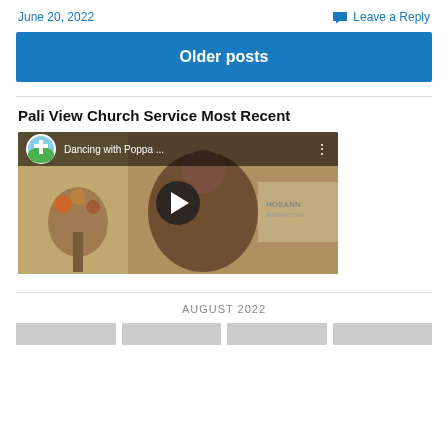June 20, 2022
Leave a Reply
Older posts
Pali View Church Service Most Recent
[Figure (screenshot): YouTube video thumbnail showing 'Dancing with Poppa ...' with a play button overlay, channel logo, and a person visible in the background of a church setting]
AUGUST 2022